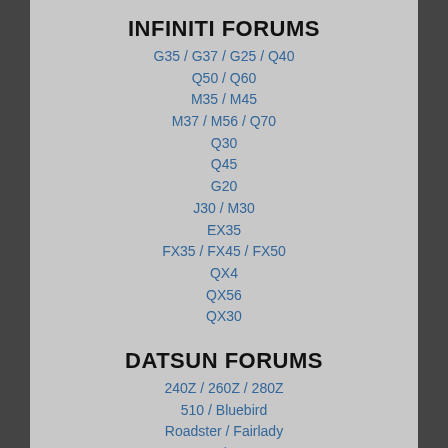INFINITI FORUMS
G35 / G37 / G25 / Q40
Q50 / Q60
M35 / M45
M37 / M56 / Q70
Q30
Q45
G20
J30 / M30
EX35
FX35 / FX45 / FX50
QX4
QX56
QX30
DATSUN FORUMS
240Z / 260Z / 280Z
510 / Bluebird
Roadster / Fairlady
410 / 411
Other Datsun Cars
320 Pickups
520 / 521 Pickups
620 Pickups
720 Pickups
TECHNICAL FORUMS